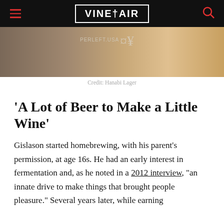VINEPAIR
[Figure (photo): Close-up photo of a person wearing a dark shirt with text 'PERLEFT.USA' and Japanese characters, with warm background tones.]
Credit: Hanabi Lager
'A Lot of Beer to Make a Little Wine'
Gislason started homebrewing, with his parent's permission, at age 16s. He had an early interest in fermentation and, as he noted in a 2012 interview, "an innate drive to make things that brought people pleasure." Several years later, while earning